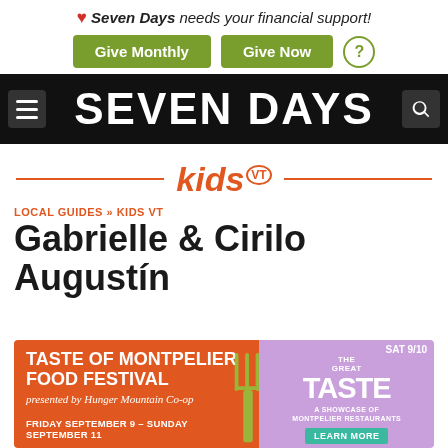❤ Seven Days needs your financial support!
Give Monthly | Give Now | ?
SEVEN DAYS
[Figure (logo): Kids VT logo with orange text and decorative horizontal lines on either side]
LOCAL GUIDES » KIDS VT
Gabrielle & Cirilo Augustín
[Figure (infographic): Advertisement banner for Taste of Montpelier Food Festival presented by Hunger Mountain Co-op. Friday September 9 - Sunday September 11. SAT 9/10 The Great Taste: A Showcase of Montpelier Restaurants. Learn More.]